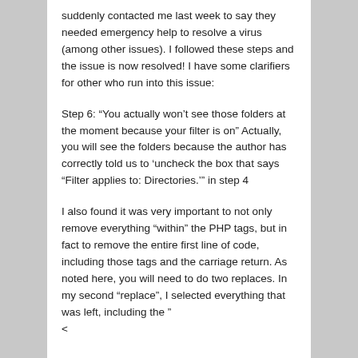suddenly contacted me last week to say they needed emergency help to resolve a virus (among other issues). I followed these steps and the issue is now resolved! I have some clarifiers for other who run into this issue:
Step 6: “You actually won’t see those folders at the moment because your filter is on” Actually, you will see the folders because the author has correctly told us to ‘uncheck the box that says “Filter applies to: Directories.’” in step 4
I also found it was very important to not only remove everything “within” the PHP tags, but in fact to remove the entire first line of code, including those tags and the carriage return. As noted here, you will need to do two replaces. In my second “replace”, I selected everything that was left, including the ”
<